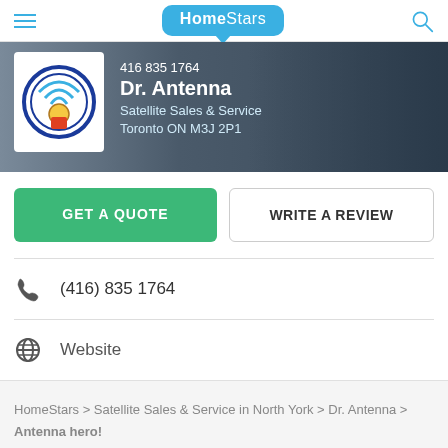HomeStars
[Figure (screenshot): Dr. Antenna business banner with company logo, phone number 416 835 1764, business name, and location Toronto ON M3J 2P1]
GET A QUOTE
WRITE A REVIEW
(416) 835 1764
Website
HomeStars > Satellite Sales & Service in North York > Dr. Antenna > Antenna hero!